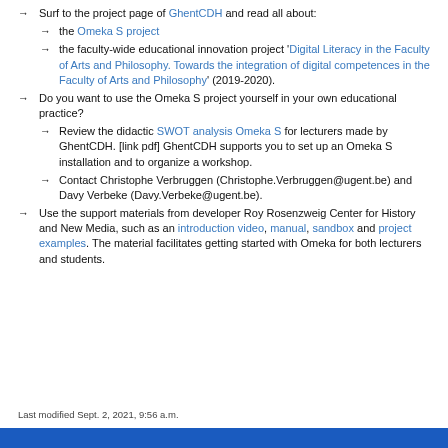Surf to the project page of GhentCDH and read all about:
the Omeka S project
the faculty-wide educational innovation project 'Digital Literacy in the Faculty of Arts and Philosophy. Towards the integration of digital competences in the Faculty of Arts and Philosophy' (2019-2020).
Do you want to use the Omeka S project yourself in your own educational practice?
Review the didactic SWOT analysis Omeka S for lecturers made by GhentCDH. [link pdf] GhentCDH supports you to set up an Omeka S installation and to organize a workshop.
Contact Christophe Verbruggen (Christophe.Verbruggen@ugent.be) and Davy Verbeke (Davy.Verbeke@ugent.be).
Use the support materials from developer Roy Rosenzweig Center for History and New Media, such as an introduction video, manual, sandbox and project examples. The material facilitates getting started with Omeka for both lecturers and students.
Last modified Sept. 2, 2021, 9:56 a.m.